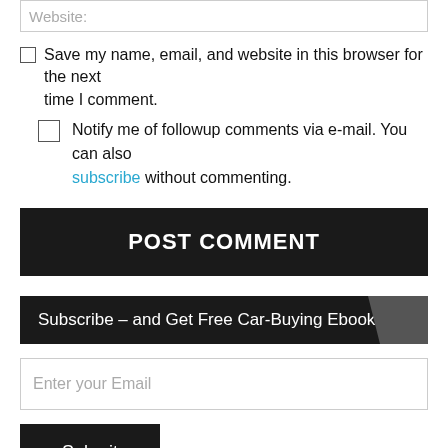Website:
Save my name, email, and website in this browser for the next time I comment.
Notify me of followup comments via e-mail. You can also subscribe without commenting.
POST COMMENT
Subscribe – and Get Free Car-Buying Ebook!
Enter your Email
Submit